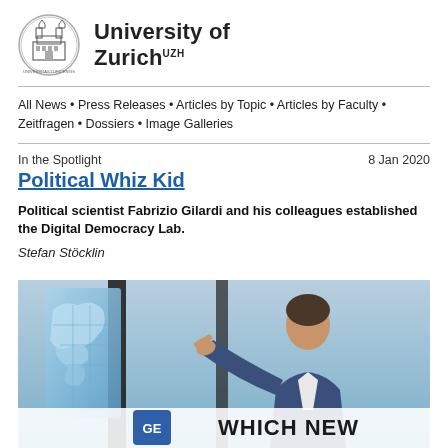[Figure (logo): University of Zurich circular seal/crest logo]
University of Zurich UZH
All News • Press Releases • Articles by Topic • Articles by Faculty • Zeitfragen • Dossiers • Image Galleries
In the Spotlight   8 Jan 2020
Political Whiz Kid
Political scientist Fabrizio Gilardi and his colleagues established the Digital Democracy Lab.
Stefan Stöcklin
[Figure (photo): Man in suit pointing at a digital world map; overlay text reads WHICH NEW with GE logo badge]